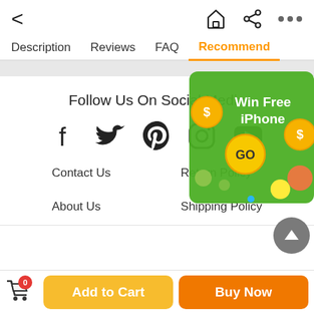< [back] [home] [share] [more]
Description  Reviews  FAQ  Recommend
[Figure (infographic): Win Free iPhone advertisement popup with green background, dollar coin icons, and GO button]
Follow Us On Social Media
[Figure (infographic): Social media icons: Facebook, Twitter, Pinterest, Instagram, YouTube]
Contact Us
Return Policy
About Us
Shipping Policy
Add to Cart  |  Buy Now